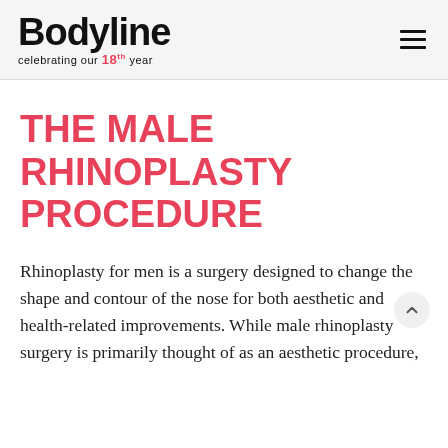Bodyline — celebrating our 18th year
THE MALE RHINOPLASTY PROCEDURE
Rhinoplasty for men is a surgery designed to change the shape and contour of the nose for both aesthetic and health-related improvements. While male rhinoplasty surgery is primarily thought of as an aesthetic procedure,